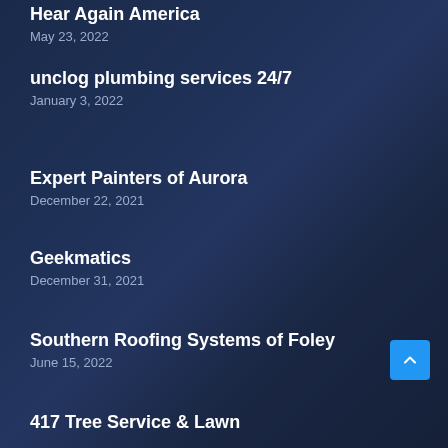Hear Again America
May 23, 2022
unclog plumbing services 24/7
January 3, 2022
Expert Painters of Aurora
December 22, 2021
Geekmatics
December 31, 2021
Southern Roofing Systems of Foley
June 15, 2022
417 Tree Service & Lawn
March 22, 2022